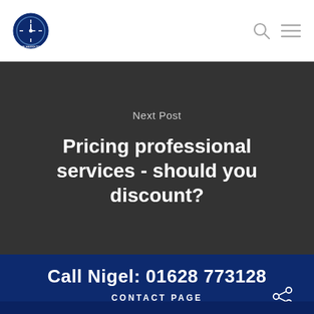Next Post
Pricing professional services - should you discount?
Call Nigel: 01628 773128
CONTACT PAGE